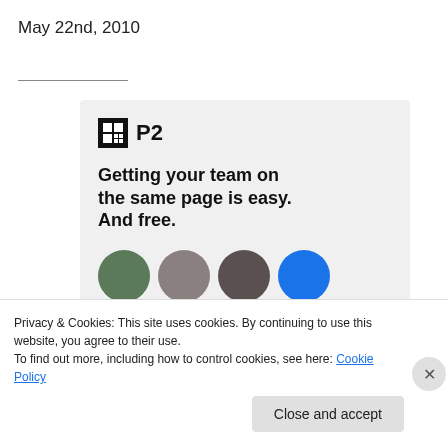May 22nd, 2010
[Figure (screenshot): P2 product card on light gray background. Shows P2 logo (dark square with grid icon), bold headline 'Getting your team on the same page is easy. And free.', and partial row of circular avatar photos and a blue circle.]
Privacy & Cookies: This site uses cookies. By continuing to use this website, you agree to their use.
To find out more, including how to control cookies, see here: Cookie Policy
Close and accept